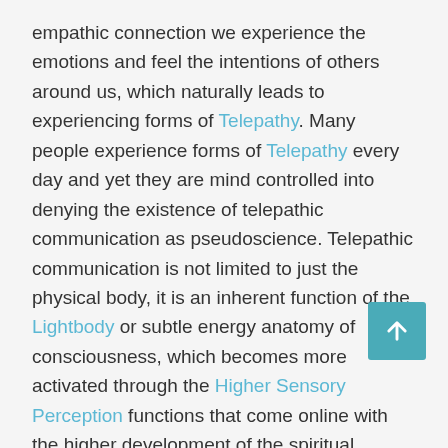empathic connection we experience the emotions and feel the intentions of others around us, which naturally leads to experiencing forms of Telepathy. Many people experience forms of Telepathy every day and yet they are mind controlled into denying the existence of telepathic communication as pseudoscience. Telepathic communication is not limited to just the physical body, it is an inherent function of the Lightbody or subtle energy anatomy of consciousness, which becomes more activated through the Higher Sensory Perception functions that come online with the higher development of the spiritual bodies. [2]
References: